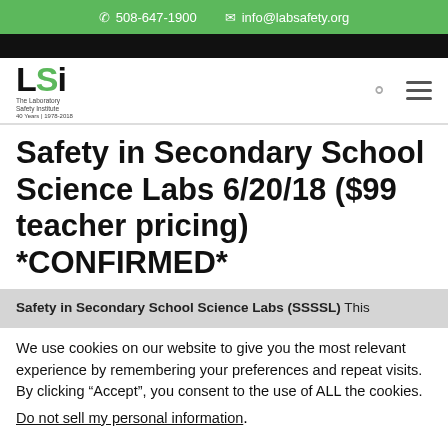508-647-1900   info@labsafety.org
Safety in Secondary School Science Labs 6/20/18 ($99 teacher pricing) *CONFIRMED*
Safety in Secondary School Science Labs (SSSSL) This
We use cookies on our website to give you the most relevant experience by remembering your preferences and repeat visits. By clicking “Accept”, you consent to the use of ALL the cookies.
Do not sell my personal information.